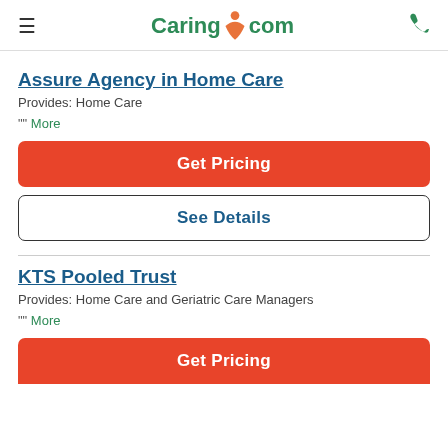Caring.com
Assure Agency in Home Care
Provides: Home Care
"" More
Get Pricing
See Details
KTS Pooled Trust
Provides: Home Care and Geriatric Care Managers
"" More
Get Pricing